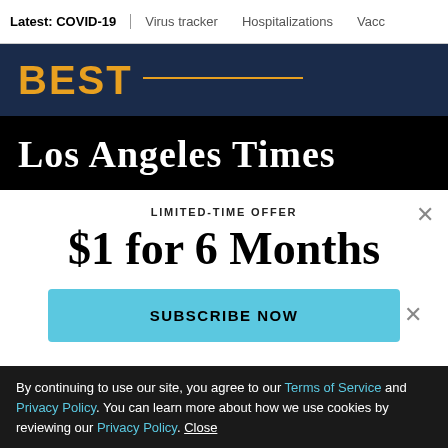Latest: COVID-19 | Virus tracker | Hospitalizations | Vacc
[Figure (illustration): Dark navy blue advertisement banner with large gold bold text 'BEST' and a gold horizontal line]
Los Angeles Times
LIMITED-TIME OFFER
$1 for 6 Months
SUBSCRIBE NOW
By continuing to use our site, you agree to our Terms of Service and Privacy Policy. You can learn more about how we use cookies by reviewing our Privacy Policy. Close